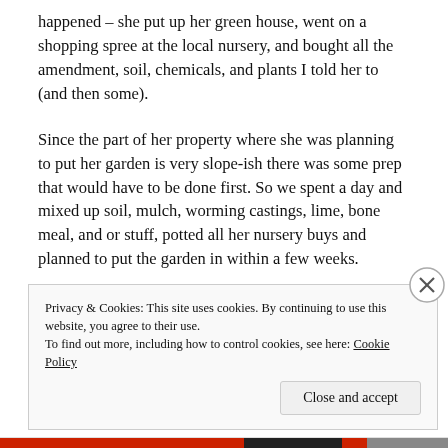happened – she put up her green house, went on a shopping spree at the local nursery, and bought all the amendment, soil, chemicals, and plants I told her to (and then some).
Since the part of her property where she was planning to put her garden is very slope-ish there was some prep that would have to be done first. So we spent a day and mixed up soil, mulch, worming castings, lime, bone meal, and or stuff, potted all her nursery buys and planned to put the garden in within a few weeks.
Privacy & Cookies: This site uses cookies. By continuing to use this website, you agree to their use.
To find out more, including how to control cookies, see here: Cookie Policy